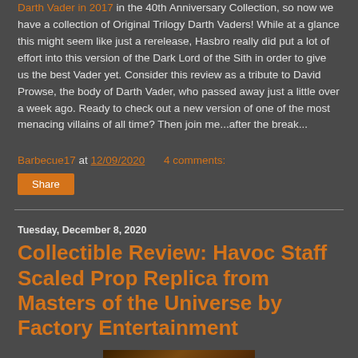Darth Vader in 2017 in the 40th Anniversary Collection, so now we have a collection of Original Trilogy Darth Vaders! While at a glance this might seem like just a rerelease, Hasbro really did put a lot of effort into this version of the Dark Lord of the Sith in order to give us the best Vader yet. Consider this review as a tribute to David Prowse, the body of Darth Vader, who passed away just a little over a week ago. Ready to check out a new version of one of the most menacing villains of all time? Then join me...after the break...
Barbecue17 at 12/09/2020   4 comments:
Share
Tuesday, December 8, 2020
Collectible Review: Havoc Staff Scaled Prop Replica from Masters of the Universe by Factory Entertainment
[Figure (photo): Thumbnail image of the Havoc Staff prop replica, dark orange/brown tones]